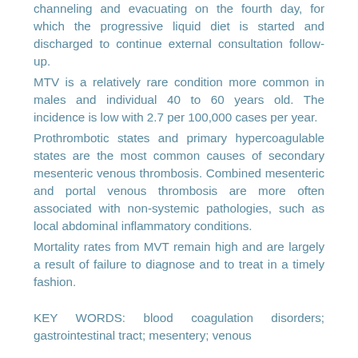channeling and evacuating on the fourth day, for which the progressive liquid diet is started and discharged to continue external consultation follow-up.
MTV is a relatively rare condition more common in males and individual 40 to 60 years old. The incidence is low with 2.7 per 100,000 cases per year.
Prothrombotic states and primary hypercoagulable states are the most common causes of secondary mesenteric venous thrombosis. Combined mesenteric and portal venous thrombosis are more often associated with non-systemic pathologies, such as local abdominal inflammatory conditions.
Mortality rates from MVT remain high and are largely a result of failure to diagnose and to treat in a timely fashion.
KEY WORDS: blood coagulation disorders; gastrointestinal tract; mesentery; venous